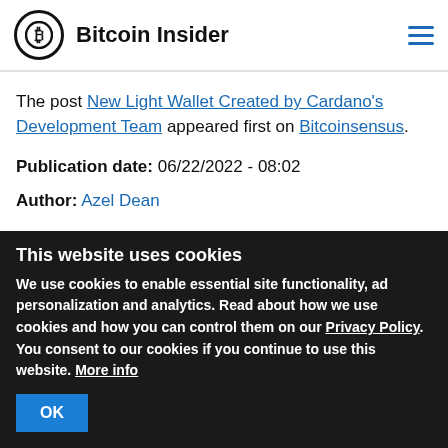Bitcoin Insider
The post New Light Wallet Created by Cardano's Development Team appeared first on Bitcoinsensus.
Publication date: 06/22/2022 - 08:02
Author: Azel Dean
This website uses cookies
We use cookies to enable essential site functionality, ad personalization and analytics. Read about how we use cookies and how you can control them on our Privacy Policy. You consent to our cookies if you continue to use this website. More info